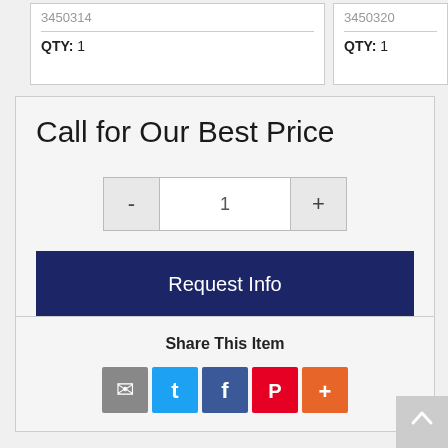3450314
QTY: 1
3450320
QTY: 1
Call for Our Best Price
1
Request Info
Share This Item
[Figure (infographic): Social share icons: email (gray), Twitter (blue), Facebook (dark blue), Pinterest (red), More (orange)]